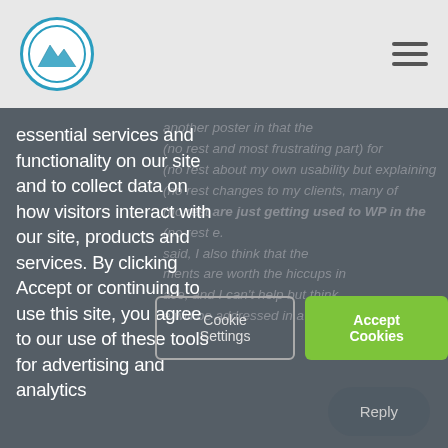[Logo] [Hamburger menu]
essential services and functionality on our site and to collect data on how visitors interact with our site, products and services. By clicking Accept or continuing to use this site, you agree to our use of these tools for advertising and analytics
another poster in that the (no rest and most frustrating part) for (no rest about my own usability but explaining (no rest changes to my clients, many of (no rest are just getting used to WP in the (no rest e. said, I also think that the (no rest ments are worth the hiccups in (no rest ace, and I can't help but think (no rest e will be addressed in a future
Cookie Settings
Accept Cookies
Reply